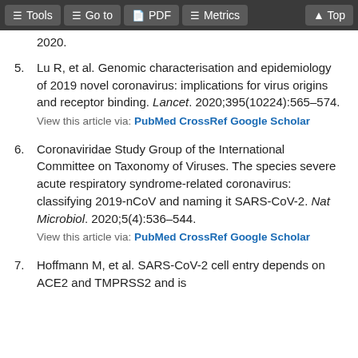Tools  Go to  PDF  Metrics  Top
2020.
5. Lu R, et al. Genomic characterisation and epidemiology of 2019 novel coronavirus: implications for virus origins and receptor binding. Lancet. 2020;395(10224):565–574. View this article via: PubMed CrossRef Google Scholar
6. Coronaviridae Study Group of the International Committee on Taxonomy of Viruses. The species severe acute respiratory syndrome-related coronavirus: classifying 2019-nCoV and naming it SARS-CoV-2. Nat Microbiol. 2020;5(4):536–544. View this article via: PubMed CrossRef Google Scholar
7. Hoffmann M, et al. SARS-CoV-2 cell entry depends on ACE2 and TMPRSS2 and is